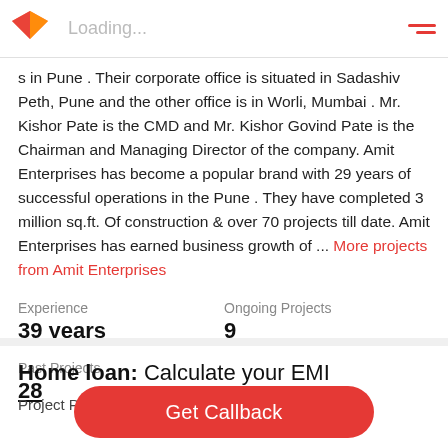Loading...
s in Pune . Their corporate office is situated in Sadashiv Peth, Pune and the other office is in Worli, Mumbai . Mr. Kishor Pate is the CMD and Mr. Kishor Govind Pate is the Chairman and Managing Director of the company. Amit Enterprises has become a popular brand with 29 years of successful operations in the Pune . They have completed 3 million sq.ft. Of construction & over 70 projects till date. Amit Enterprises has earned business growth of ... More projects from Amit Enterprises
Experience
39 years
Ongoing Projects
9
Past Projects
28
Home loan: Calculate your EMI
Project Price
Get Callback